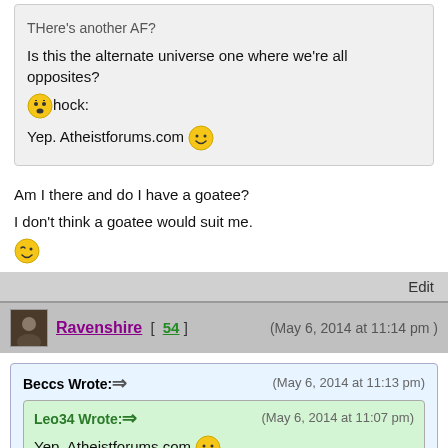THere's another AF?
Is this the alternate universe one where we're all opposites?
:shock: hock:
Yep. Atheistforums.com :)
Am I there and do I have a goatee?
I don't think a goatee would suit me.
:wink:
Edit
Ravenshire [ 54 ] (May 6, 2014 at 11:14 pm)
Beccs Wrote: (May 6, 2014 at 11:13 pm)
Leo34 Wrote: (May 6, 2014 at 11:07 pm)
Yep. Atheistforums.com
Am I there and do I have a goatee?